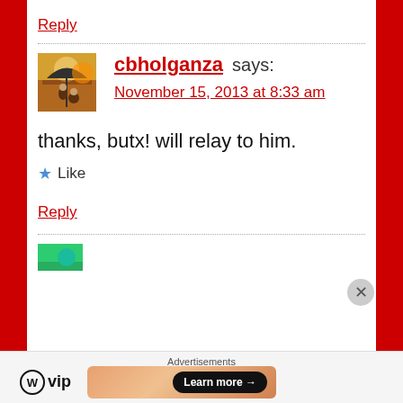Reply
cbholganza says:
November 15, 2013 at 8:33 am
thanks, butx! will relay to him.
★ Like
Reply
Advertisements
[Figure (logo): WordPress VIP logo with WP circle icon and 'vip' text]
[Figure (infographic): Orange/peach gradient ad banner with Learn more button]